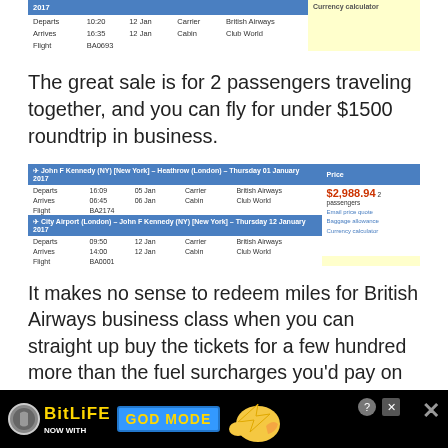| 2017 |  |  |  |  | Currency calculator |
| --- | --- | --- | --- | --- | --- |
| Departs | 10:20 | 12 Jan | Carrier | British Airways |  |
| Arrives | 16:35 | 12 Jan | Cabin | Club World |  |
| Flight | BA0693 |  |  |  |  |
The great sale is for 2 passengers traveling together, and you can fly for under $1500 roundtrip in business.
| John F Kennedy (NY) [New York] - Heathrow (London) - Thursday 01 January 2017 | Price |
| --- | --- |
| Departs  16:09  05 Jan  Carrier  British Airways | $2,988.94  2 passengers |
| Arrives  06:45  06 Jan  Cabin  Club World | Email price quote |
| Flight  BA2174 | Baggage allowance |
| City Airport (London) - John F Kennedy (NY) [New York] - Thursday 12 January 2017 | Currency calculator |
| Departs  09:50  12 Jan  Carrier  British Airways |  |
| Arrives  14:00  12 Jan  Cabin  Club World |  |
| Flight  BA0001 |  |
It makes no sense to redeem miles for British Airways business class when you can straight up buy the tickets for a few hundred more than the fuel surcharges you'd pay on an
[Figure (other): BitLife advertisement banner with 'NOW WITH GOD MODE' text]